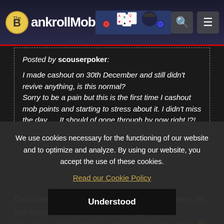[Figure (screenshot): BankrollMob website header with logo, poker-themed banner art, search icon, and menu icon]
Posted by scouserpoker: I made cashout on 30th December and still didn't revive anything, is this normal? Sorry to be a pain but this is the first time I cashout mob points and starting to stress about it. I didn't miss the day .... It should of gone through by now right !?!
Don't worry 🙂 the BRM will give You the money, it's just about the New Year holidays i guess... Good luck with multiplying the reward at the table 🙂
We use cookies necessary for the functioning of our website and to optimize and analyze. By using our website, you accept the use of these cookies.
Read our Cookie Policy
Understood